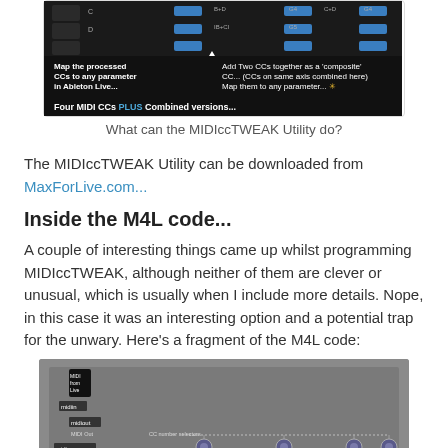[Figure (screenshot): Screenshot of MIDIccTWEAK Utility interface showing MIDI CC mapping controls with labels about mapping CCs to Ableton Live parameters and combining CCs as composite]
What can the MIDIccTWEAK Utility do?
The MIDIccTWEAK Utility can be downloaded from MaxForLive.com...
Inside the M4L code...
A couple of interesting things came up whilst programming MIDIccTWEAK, although neither of them are clever or unusual, which is usually when I include more details. Nope, in this case it was an interesting option and a potential trap for the unwary. Here's a fragment of the M4L code:
[Figure (screenshot): Screenshot of M4L (Max for Live) code/patch showing MIDI routing with midiin, midiout, midiparm objects and CC number selectors]